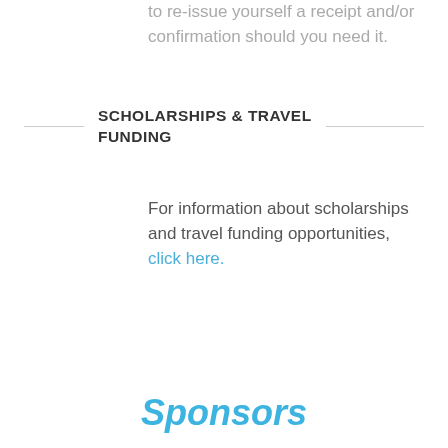to re-issue yourself a receipt and/or confirmation should you need it.
SCHOLARSHIPS & TRAVEL FUNDING
For information about scholarships and travel funding opportunities, click here.
Sponsors